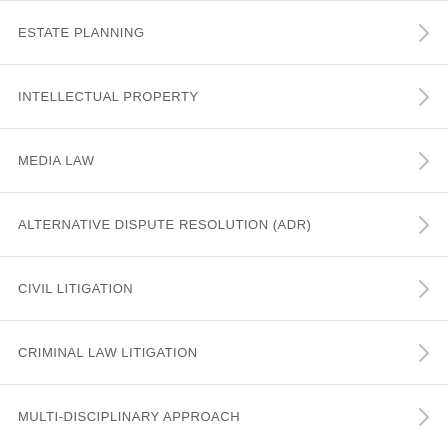ESTATE PLANNING
INTELLECTUAL PROPERTY
MEDIA LAW
ALTERNATIVE DISPUTE RESOLUTION (ADR)
CIVIL LITIGATION
CRIMINAL LAW LITIGATION
MULTI-DISCIPLINARY APPROACH